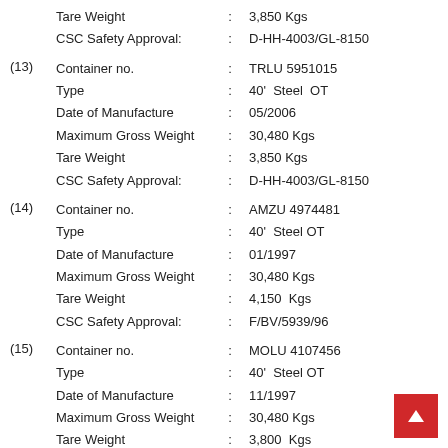Tare Weight : 3,850 Kgs
CSC Safety Approval: : D-HH-4003/GL-8150
(13) Container no. : TRLU 5951015
Type : 40' Steel OT
Date of Manufacture : 05/2006
Maximum Gross Weight : 30,480 Kgs
Tare Weight : 3,850 Kgs
CSC Safety Approval: : D-HH-4003/GL-8150
(14) Container no. : AMZU 4974481
Type : 40' Steel OT
Date of Manufacture : 01/1997
Maximum Gross Weight : 30,480 Kgs
Tare Weight : 4,150 Kgs
CSC Safety Approval: : F/BV/5939/96
(15) Container no. : MOLU 4107456
Type : 40' Steel OT
Date of Manufacture : 11/1997
Maximum Gross Weight : 30,480 Kgs
Tare Weight : 3,800 Kgs
CSC Safety Approval: : F/BV/6268/97